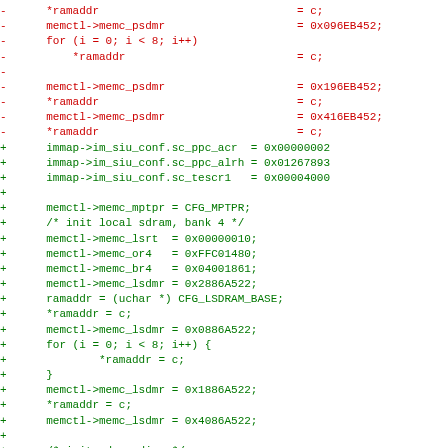Code diff showing removed lines (red, prefixed with -) and added lines (green, prefixed with +) for memory controller and SDRAM initialization code